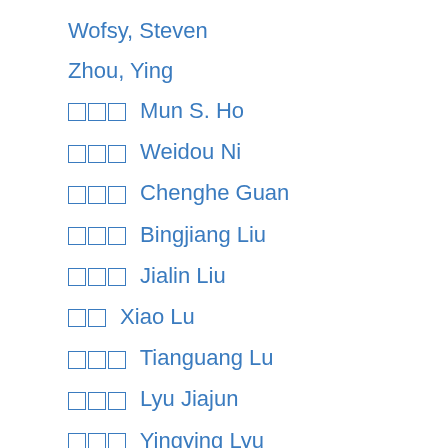Wofsy, Steven
Zhou, Ying
□□□ Mun S. Ho
□□□ Weidou Ni
□□□ Chenghe Guan
□□□ Bingjiang Liu
□□□ Jialin Liu
□□ Xiao Lu
□□□ Tianguang Lu
□□□ Lyu Jiajun
□□□ Yingying Lyu
□□ Gang Wu
□□□ Qiuwei Wu